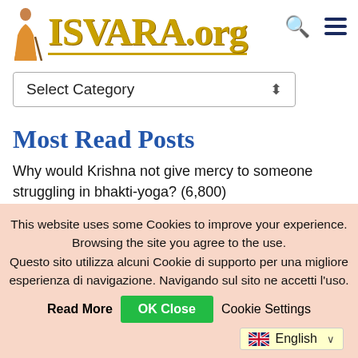[Figure (screenshot): ISVARA.org website header with monk figure logo, gold serif text, search icon, and hamburger menu icon]
[Figure (screenshot): Select Category dropdown control]
Most Read Posts
Why would Krishna not give mercy to someone struggling in bhakti-yoga? (6,800)
Rādhā-kunda is very rarely attained even by the great
This website uses some Cookies to improve your experience. Browsing the site you agree to the use. Questo sito utilizza alcuni Cookie di supporto per una migliore esperienza di navigazione. Navigando sul sito ne accetti l'uso.
Read More   OK Close   Cookie Settings
[Figure (screenshot): English language selector with UK flag]